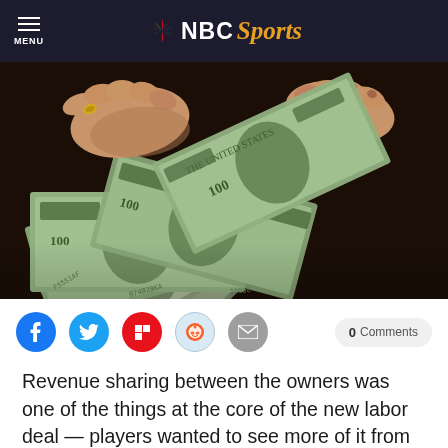MENU | NBC Sports
[Figure (photo): Close-up photo of hands counting and fanning out US $100 dollar bills]
[Figure (infographic): Social sharing buttons: Facebook, Twitter, Flipboard, Reddit, Email, and 0 Comments button]
Revenue sharing between the owners was one of the things at the core of the new labor deal — players wanted to see more of it from the owners so they were